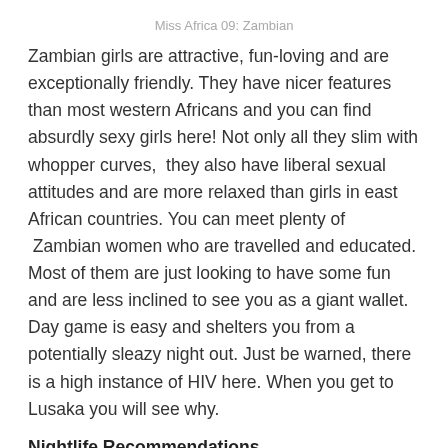Miss Africa 09: Zambian
Zambian girls are attractive, fun-loving and are exceptionally friendly. They have nicer features than most western Africans and you can find absurdly sexy girls here! Not only all they slim with whopper curves,  they also have liberal sexual attitudes and are more relaxed than girls in east African countries. You can meet plenty of  Zambian women who are travelled and educated. Most of them are just looking to have some fun and are less inclined to see you as a giant wallet. Day game is easy and shelters you from a potentially sleazy night out. Just be warned, there is a high instance of HIV here. When you get to Lusaka you will see why.
Nightlife Recommendations